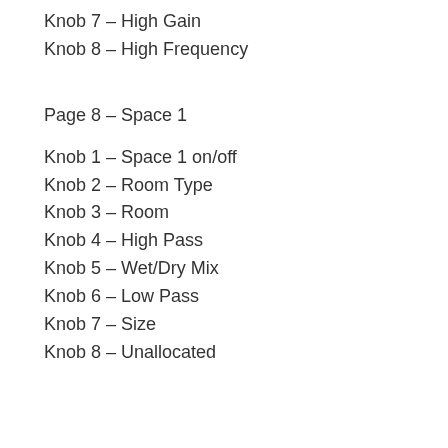Knob 7 – High Gain
Knob 8 – High Frequency
Page 8 – Space 1
Knob 1 – Space 1 on/off
Knob 2 – Room Type
Knob 3 – Room
Knob 4 – High Pass
Knob 5 – Wet/Dry Mix
Knob 6 – Low Pass
Knob 7 – Size
Knob 8 – Unallocated